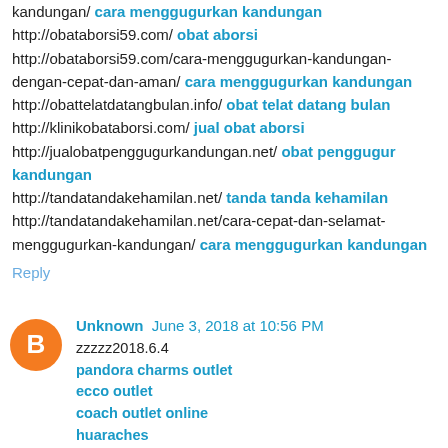kandungan/ cara menggugurkan kandungan http://obataborsi59.com/ obat aborsi http://obataborsi59.com/cara-menggugurkan-kandungan-dengan-cepat-dan-aman/ cara menggugurkan kandungan http://obattelatdatangbulan.info/ obat telat datang bulan http://klinikobataborsi.com/ jual obat aborsi http://jualobatpenggugurkandungan.net/ obat penggugur kandungan http://tandatandakehamilan.net/ tanda tanda kehamilan http://tandatandakehamilan.net/cara-cepat-dan-selamat-menggugurkan-kandungan/ cara menggugurkan kandungan
Reply
Unknown June 3, 2018 at 10:56 PM
zzzzz2018.6.4
pandora charms outlet
ecco outlet
coach outlet online
huaraches